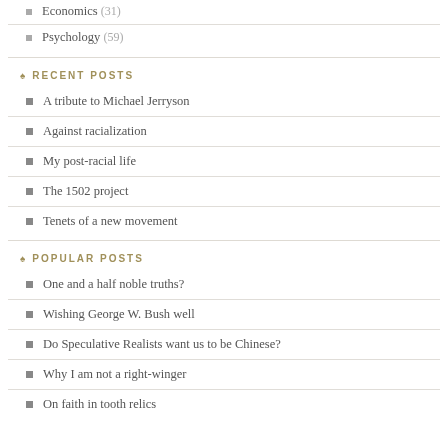Economics (31)
Psychology (59)
RECENT POSTS
A tribute to Michael Jerryson
Against racialization
My post-racial life
The 1502 project
Tenets of a new movement
POPULAR POSTS
One and a half noble truths?
Wishing George W. Bush well
Do Speculative Realists want us to be Chinese?
Why I am not a right-winger
On faith in tooth relics